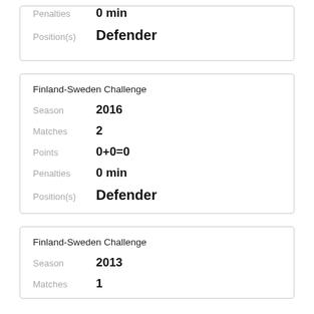| Penalties | 0 min |
| Position(s) | Defender |
Finland-Sweden Challenge
| Season | 2016 |
| Matches | 2 |
| Points | 0+0=0 |
| Penalties | 0 min |
| Position(s) | Defender |
Finland-Sweden Challenge
| Season | 2013 |
| Matches | 1 |